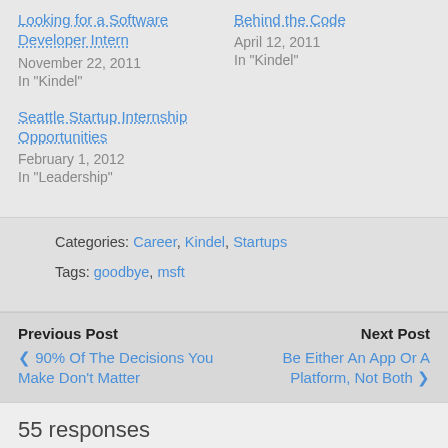Looking for a Software Developer Intern
November 22, 2011
In "Kindel"
Behind the Code
April 12, 2011
In "Kindel"
Seattle Startup Internship Opportunities
February 1, 2012
In "Leadership"
Categories: Career, Kindel, Startups
Tags: goodbye, msft
Previous Post
< 90% Of The Decisions You Make Don't Matter
Next Post
Be Either An App Or A Platform, Not Both >
55 responses